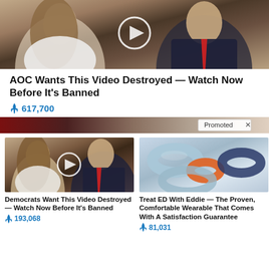[Figure (photo): Photo of two people (a woman in white and a man in a dark suit with red tie) with a video play button overlay — thumbnail for viral video article]
AOC Wants This Video Destroyed — Watch Now Before It's Banned
🔥 617,700
[Figure (photo): Promoted content banner with photo thumbnail — dark/red tones, with 'Promoted X' label on right]
[Figure (photo): Thumbnail photo of same two people with video play button — for 'Democrats Want This Video Destroyed' article]
Democrats Want This Video Destroyed — Watch Now Before It's Banned
🔥 193,068
[Figure (photo): Photo of colorful wearable ring/loop devices (light blue, orange, dark blue) on light background]
Treat ED With Eddie — The Proven, Comfortable Wearable That Comes With A Satisfaction Guarantee
🔥 81,031